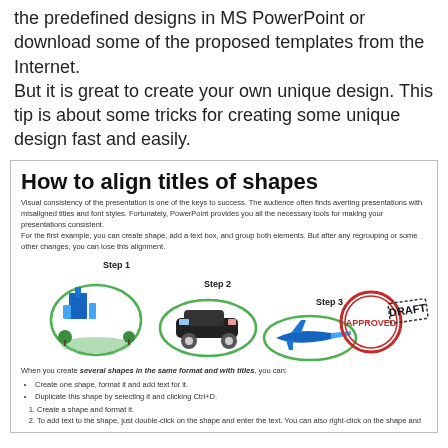the predefined designs in MS PowerPoint or download some of the proposed templates from the Internet.
But it is great to create your own unique design. This tip is about some tricks for creating some unique design fast and easily.
[Figure (infographic): Infographic box titled 'How to align titles of shapes' with descriptive text, three steps illustrated with clipart images (building, car, airplane) in green oval frames labeled Step 1, Step 2, Step 3, and stamp images labeled APPROVED and DRAFT, followed by bullet points and numbered list items.]
When you create several shapes in the same format and with titles, you can:
Create one shape, format it and add text for it.
Duplicate this shape by selecting it and clicking Ctrl+D.
Create a shape and format it.
To add text to the shape, just double-click on the shape and enter the text. You can also right-click on the shape and